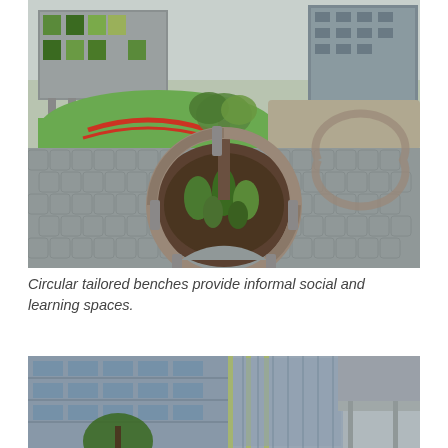[Figure (photo): Outdoor courtyard at a school or university campus showing circular wooden benches surrounding a circular garden bed with a young tree. The paved area uses hexagonal pavers. Modern school buildings with green and grey cladding are visible in the background, along with a grassed area and red track markings.]
Circular tailored benches provide informal social and learning spaces.
[Figure (photo): Exterior view of a modern multi-storey school or university building with glass facade panels and yellow-green vertical accent strips. A covered walkway or canopy is visible on the right side. Trees are in the foreground.]